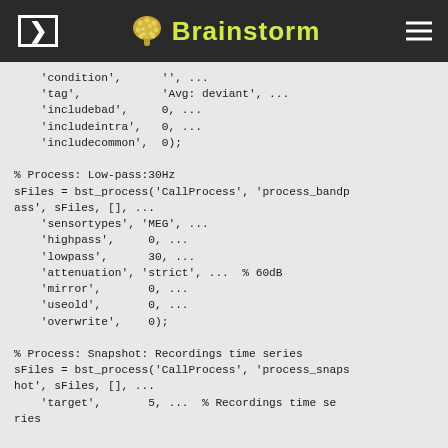Brainstorm
'condition',      '', ...
    'tag',            'Avg: deviant', ...
    'includebad',     0, ...
    'includeintra',   0, ...
    'includecommon',  0);

% Process: Low-pass:30Hz
sFiles = bst_process('CallProcess', 'process_bandpass', sFiles, [], ...
    'sensortypes', 'MEG', ...
    'highpass',     0, ...
    'lowpass',      30, ...
    'attenuation', 'strict', ...  % 60dB
    'mirror',       0, ...
    'useold',       0, ...
    'overwrite',    0);

% Process: Snapshot: Recordings time series
sFiles = bst_process('CallProcess', 'process_snapshot', sFiles, [], ...
    'target',       5, ...  % Recordings time se
ries